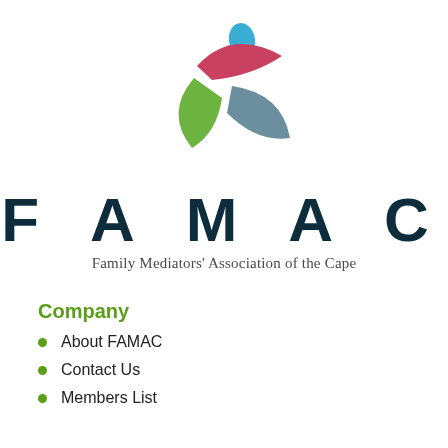[Figure (logo): FAMAC logo: abstract figure with blue oval head, red wing/arm shape, green leaf shape, and grey/blue wing shape forming a circular emblem]
FAMAC
Family Mediators' Association of the Cape
Company
About FAMAC
Contact Us
Members List